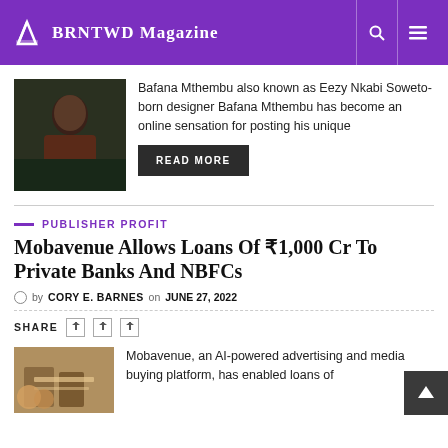BRNTWD Magazine
[Figure (photo): Portrait photo of a man (Bafana Mthembu / Eezy Nkabi) seated indoors with greenery in background]
Bafana Mthembu also known as Eezy Nkabi Soweto-born designer Bafana Mthembu has become an online sensation for posting his unique
READ MORE
PUBLISHER PROFIT
Mobavenue Allows Loans Of ₹1,000 Cr To Private Banks And NBFCs
by CORY E. BARNES on JUNE 27, 2022
SHARE
[Figure (photo): Photo of hands with coins and financial/legal documents representing loans]
Mobavenue, an AI-powered advertising and media buying platform, has enabled loans of